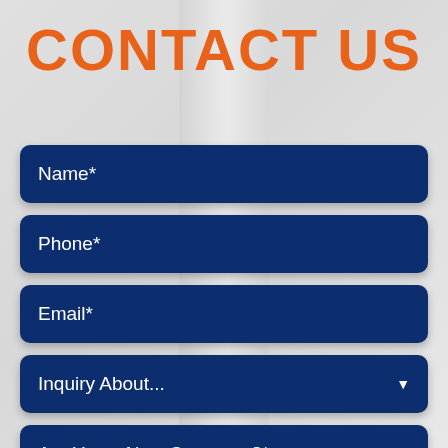CONTACT US
Name*
Phone*
Email*
Inquiry About...
Are You a New Customer?*